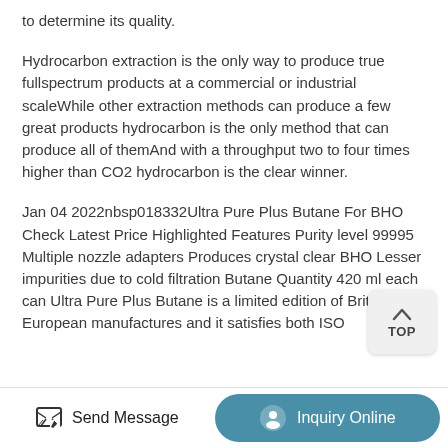to determine its quality.
Hydrocarbon extraction is the only way to produce true fullspectrum products at a commercial or industrial scaleWhile other extraction methods can produce a few great products hydrocarbon is the only method that can produce all of themAnd with a throughput two to four times higher than CO2 hydrocarbon is the clear winner.
Jan 04 2022nbsp018332Ultra Pure Plus Butane For BHO Check Latest Price Highlighted Features Purity level 99995 Multiple nozzle adapters Produces crystal clear BHO Lesser impurities due to cold filtration Butane Quantity 420 ml each can Ultra Pure Plus Butane is a limited edition of British European manufactures and it satisfies both ISO